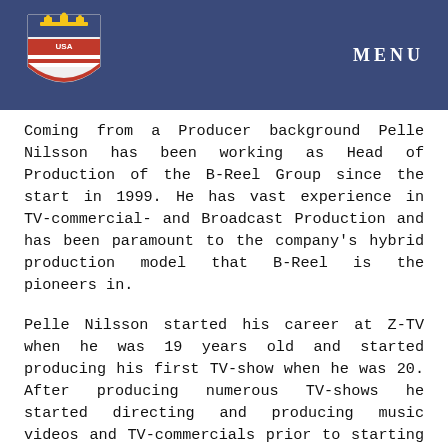MENU
Coming from a Producer background Pelle Nilsson has been working as Head of Production of the B-Reel Group since the start in 1999. He has vast experience in TV-commercial- and Broadcast Production and has been paramount to the company's hybrid production model that B-Reel is the pioneers in.
Pelle Nilsson started his career at Z-TV when he was 19 years old and started producing his first TV-show when he was 20. After producing numerous TV-shows he started directing and producing music videos and TV-commercials prior to starting B-Reel with Anders Wahlquist and Petter Westlund.